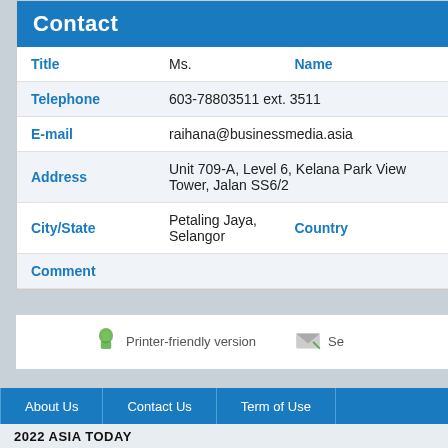Contact
| Field | Value | Field2 | Value2 |
| --- | --- | --- | --- |
| Title | Ms. | Name |  |
| Telephone | 603-78803511 ext. 3511 | Fax |  |
| E-mail | raihana@businessmedia.asia |  |  |
| Address | Unit 709-A, Level 6, Kelana Park View Tower, Jalan SS6/2 |  |  |
| City/State | Petaling Jaya, Selangor | Country |  |
| Comment |  |  |  |
Printer-friendly version
About Us | Contact Us | Term of Use
2022 ASIA TODAY